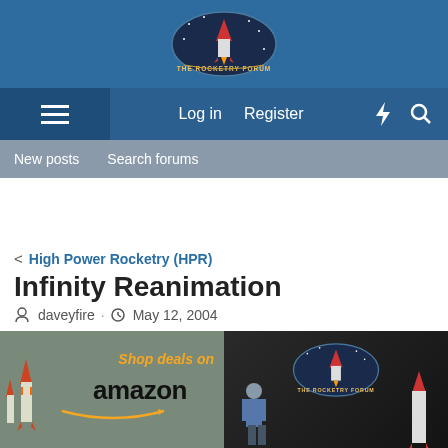[Figure (logo): The Rocketry Forum oval logo with rocket graphic on dark blue background]
Log in  Register
New posts  Search forums
< High Power Rocketry (HPR)
Infinity Reanimation
daveyfire · May 12, 2004
[Figure (illustration): Shop deals on amazon - www.rocketryforum.com banner ad with rocket graphic]
[Figure (illustration): The Rocketry Forum - Advertise with us! banner with person sitting next to large rocket]
[Figure (logo): Eggtimer Rocketry - Altimeters & Dual Deploy partial advertisement at bottom]